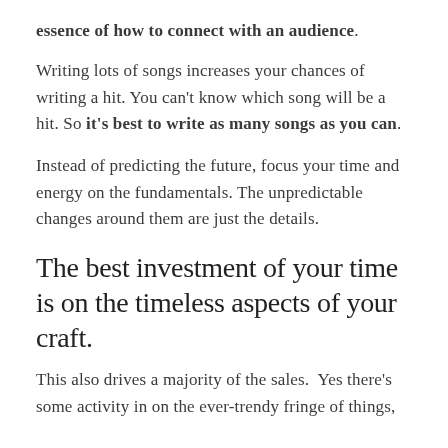essence of how to connect with an audience.
Writing lots of songs increases your chances of writing a hit. You can't know which song will be a hit. So it's best to write as many songs as you can.
Instead of predicting the future, focus your time and energy on the fundamentals. The unpredictable changes around them are just the details.
The best investment of your time is on the timeless aspects of your craft.
This also drives a majority of the sales.  Yes there's some activity in on the ever-trendy fringe of things,